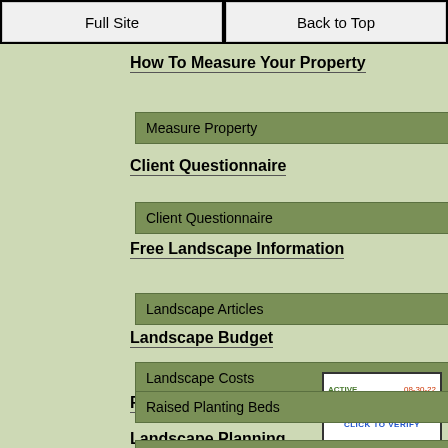Full Site | Back to Top
How To Measure Your Property
Measure Property
Client Questionnaire
Client Questionnaire
Free Landscape Information
Landscape Articles
Landscape Budget
Landscape Costs
Raised Planting Beds
Raised Planting Beds
Landscape Planning
Hiring a Professional
[Figure (logo): ACTIVE HONESTE.fm CLICK TO VERIFY badge dated 08-30-22]